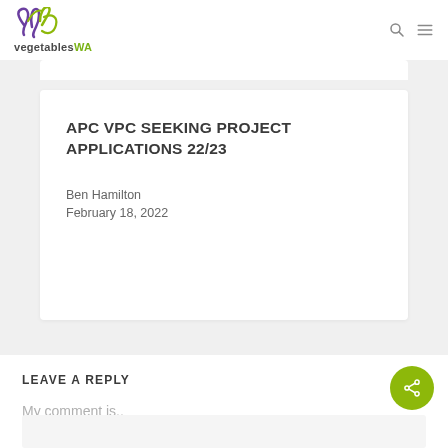vegetablesWA
APC VPC SEEKING PROJECT APPLICATIONS 22/23
Ben Hamilton
February 18, 2022
LEAVE A REPLY
My comment is..